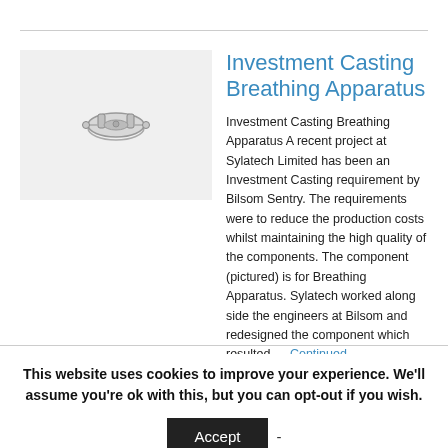[Figure (photo): Small metal component for breathing apparatus shown against light grey background]
Investment Casting Breathing Apparatus
Investment Casting Breathing Apparatus A recent project at Sylatech Limited has been an Investment Casting requirement by Bilsom Sentry. The requirements were to reduce the production costs whilst maintaining the high quality of the components. The component (pictured) is for Breathing Apparatus. Sylatech worked along side the engineers at Bilsom and redesigned the component which resulted … Continued
This website uses cookies to improve your experience. We'll assume you're ok with this, but you can opt-out if you wish.